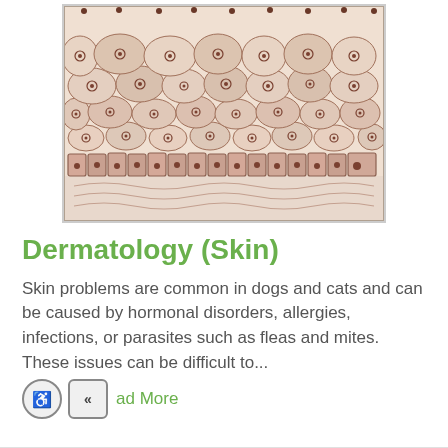[Figure (illustration): Close-up illustration of skin cell layers showing squamous epithelial cells with nuclei in upper layers and columnar basal cells at the bottom, with wavy dermis layer below. Pink and brown tones.]
Dermatology (Skin)
Skin problems are common in dogs and cats and can be caused by hormonal disorders, allergies, infections, or parasites such as fleas and mites. These issues can be difficult to...
Read More